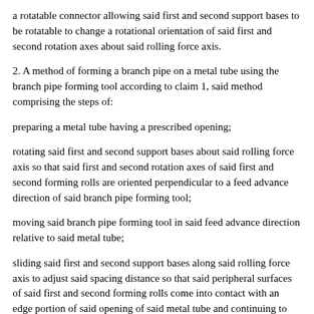a rotatable connector allowing said first and second support bases to be rotatable to change a rotational orientation of said first and second rotation axes about said rolling force axis.
2. A method of forming a branch pipe on a metal tube using the branch pipe forming tool according to claim 1, said method comprising the steps of:
preparing a metal tube having a prescribed opening;
rotating said first and second support bases about said rolling force axis so that said first and second rotation axes of said first and second forming rolls are oriented perpendicular to a feed advance direction of said branch pipe forming tool;
moving said branch pipe forming tool in said feed advance direction relative to said metal tube;
sliding said first and second support bases along said rolling force axis to adjust said spacing distance so that said peripheral surfaces of said first and second forming rolls come into contact with an edge portion of said opening of said metal tube and continuing to move said branch pipe forming tool in said feed advance direction, thereby deforming said edge portion of said opening to form a branch pipe flange, a portion of said branch pipe flange being with said